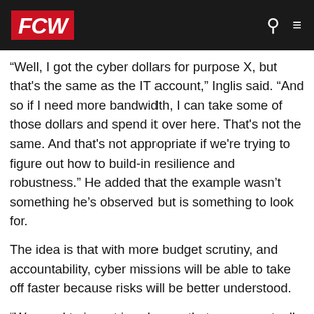FCW
“Well, I got the cyber dollars for purpose X, but that’s the same as the IT account,” Inglis said. “And so if I need more bandwidth, I can take some of those dollars and spend it over here. That’s not the same. And that’s not appropriate if we’re trying to figure out how to build-in resilience and robustness.” He added that the example wasn’t something he’s observed but is something to look for.
The idea is that with more budget scrutiny, and accountability, cyber missions will be able to take off faster because risks will be better understood.
“We need to invest in cyber so that we can actually enable the mission, not hold it back,” he said. “I think that that education is perhaps the first and foremost education to be had about cyber.”
Then Inglis said, “We can’t take risk in one place and expect someone in another place to simply be the mitigator of risks they